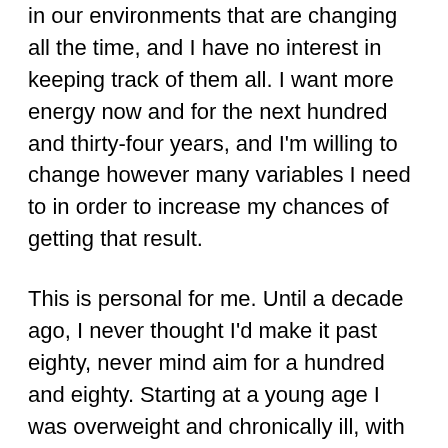in our environments that are changing all the time, and I have no interest in keeping track of them all. I want more energy now and for the next hundred and thirty-four years, and I'm willing to change however many variables I need to in order to increase my chances of getting that result.
This is personal for me. Until a decade ago, I never thought I'd make it past eighty, never mind aim for a hundred and eighty. Starting at a young age I was overweight and chronically ill, with arthritis in my knees when I was just fourteen. By the time I was in my twenties I was prediabetic and suffered from brain fog, fatigue, and dozens of other issues we normally associate with aging. My doctors told me I was at a high risk of heart attack or stroke